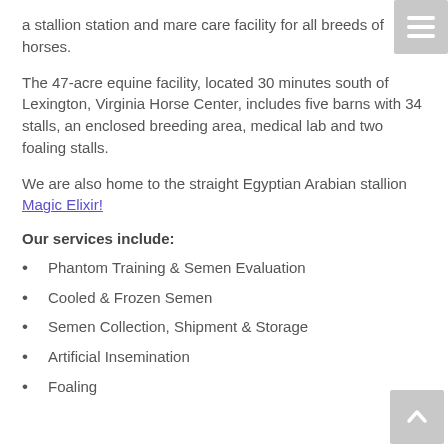a stallion station and mare care facility for all breeds of horses.
The 47-acre equine facility, located 30 minutes south of Lexington, Virginia Horse Center, includes five barns with 34 stalls, an enclosed breeding area, medical lab and two foaling stalls.
We are also home to the straight Egyptian Arabian stallion Magic Elixir!
Our services include:
Phantom Training & Semen Evaluation
Cooled & Frozen Semen
Semen Collection, Shipment & Storage
Artificial Insemination
Foaling